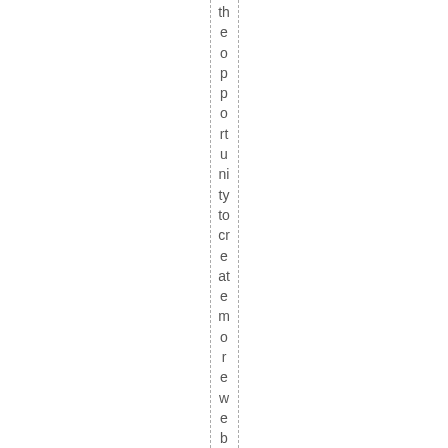the opportunity to create more websites